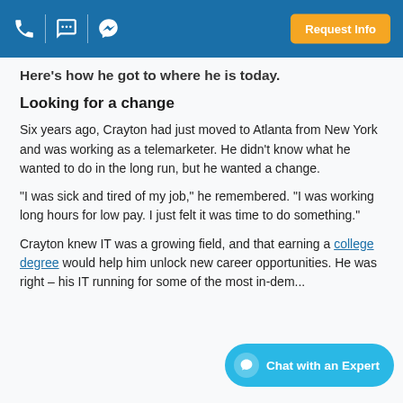Here's how he got to where he is today.
Looking for a change
Six years ago, Crayton had just moved to Atlanta from New York and was working as a telemarketer. He didn't know what he wanted to do in the long run, but he wanted a change.
"I was sick and tired of my job," he remembered. "I was working long hours for low pay. I just felt it was time to do something."
Crayton knew IT was a growing field, and that earning a college degree would help him unlock new career opportunities. He was right – his IT running for some of the most in-dem...